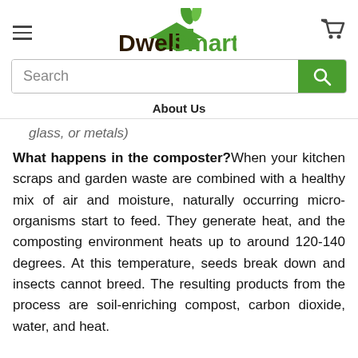[Figure (logo): DwellSmart logo with green house and leaves icon]
Search
About Us
glass, or metals)
What happens in the composter? When your kitchen scraps and garden waste are combined with a healthy mix of air and moisture, naturally occurring micro-organisms start to feed. They generate heat, and the composting environment heats up to around 120-140 degrees. At this temperature, seeds break down and insects cannot breed. The resulting products from the process are soil-enriching compost, carbon dioxide, water, and heat.